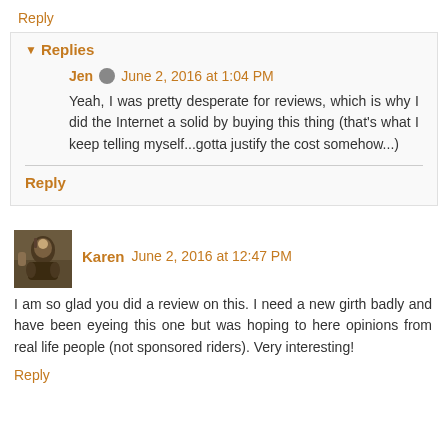Reply
▼ Replies
Jen  June 2, 2016 at 1:04 PM
Yeah, I was pretty desperate for reviews, which is why I did the Internet a solid by buying this thing (that's what I keep telling myself...gotta justify the cost somehow...)
Reply
Karen  June 2, 2016 at 12:47 PM
I am so glad you did a review on this. I need a new girth badly and have been eyeing this one but was hoping to here opinions from real life people (not sponsored riders). Very interesting!
Reply